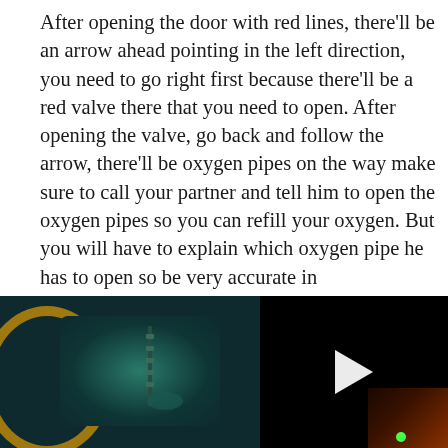After opening the door with red lines, there'll be an arrow ahead pointing in the left direction, you need to go right first because there'll be a red valve there that you need to open. After opening the valve, go back and follow the arrow, there'll be oxygen pipes on the way make sure to call your partner and tell him to open the oxygen pipes so you can refill your oxygen. But you will have to explain which oxygen pipe he has to open so be very accurate in communication and remember the path. There'll always be a statue near the pipes so explain the statue to your partner so, he can open the correct pipe for [X] you.
[Figure (screenshot): Two side-by-side video screenshots. Left: a dark underwater/indoor scene showing a circular gold-rimmed porthole or ring with a teal-lit interior scene and a vertical pipe or chain visible. Right: a black screen with a white play button triangle in the center, indicating a video player. Bottom-right corner shows a small image of a reddish-brown scene.]